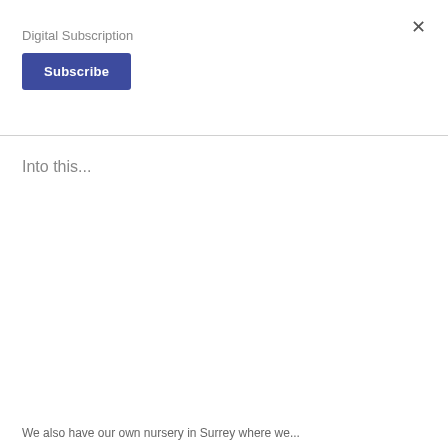×
Digital Subscription
[Figure (other): Subscribe button with dark blue background and white bold text]
Into this...
We also have our own nursery in Surrey where we...